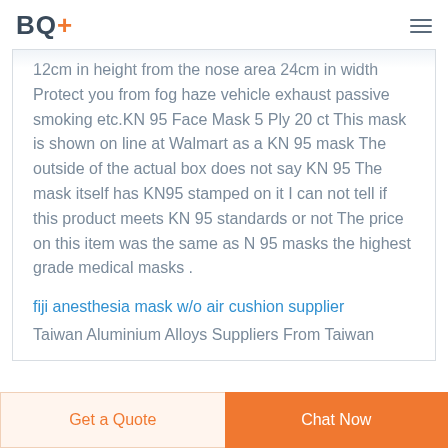BQ+
12cm in height from the nose area 24cm in width Protect you from fog haze vehicle exhaust passive smoking etc.KN 95 Face Mask 5 Ply 20 ct This mask is shown on line at Walmart as a KN 95 mask The outside of the actual box does not say KN 95 The mask itself has KN95 stamped on it I can not tell if this product meets KN 95 standards or not The price on this item was the same as N 95 masks the highest grade medical masks .
fiji anesthesia mask w/o air cushion supplier
Taiwan Aluminium Alloys Suppliers From Taiwan